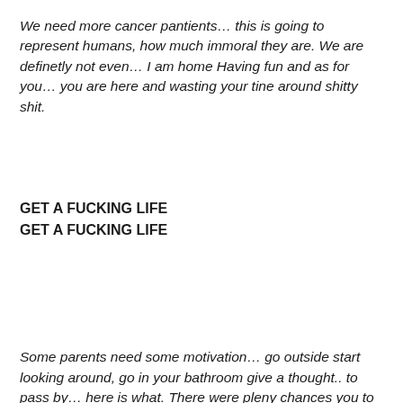We need more cancer pantients… this is going to represent humans, how much immoral they are. We are definetly not even… I am home Having fun and as for you… you are here and wasting your tine around shitty shit.
GET A FUCKING LIFE
GET A FUCKING LIFE
Some parents need some motivation… go outside start looking around, go in your bathroom give a thought.. to pass by… here is what. There were pleny chances you to be a reason for a global warming and pollutions… but look you are standing now here … fully grown man.. adult… being